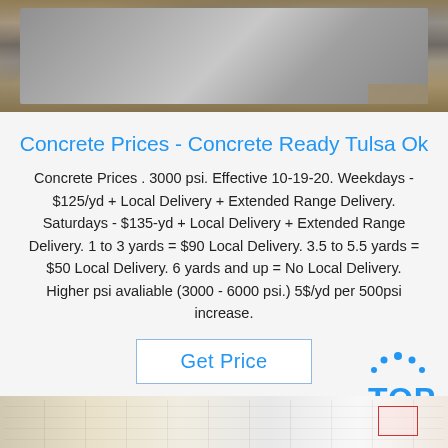[Figure (photo): Photo of metal sheets or panels with cardboard/packaging materials in background]
Concrete Prices - Concrete Ready Tulsa Ok
Concrete Prices . 3000 psi. Effective 10-19-20. Weekdays - $125/yd + Local Delivery + Extended Range Delivery. Saturdays - $135-yd + Local Delivery + Extended Range Delivery. 1 to 3 yards = $90 Local Delivery. 3.5 to 5.5 yards = $50 Local Delivery. 6 yards and up = No Local Delivery. Higher psi avaliable (3000 - 6000 psi.) 5$/yd per 500psi increase.
[Figure (logo): Get Price button and TOP logo with blue dots arc above letters T-O-P]
[Figure (photo): Photo of a document/form with grid lines and a red stamp box in the corner]